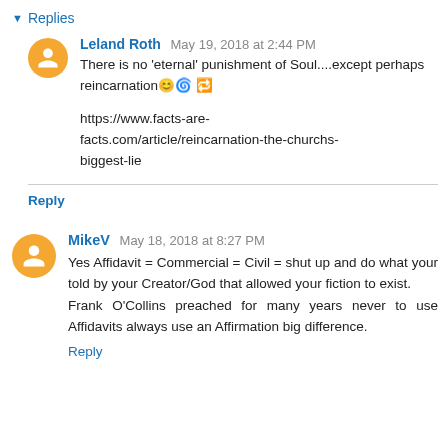▾ Replies
Leland Roth  May 19, 2018 at 2:44 PM
There is no 'eternal' punishment of Soul....except perhaps reincarnation😊🌀 🔁

https://www.facts-are-facts.com/article/reincarnation-the-churchs-biggest-lie
Reply
MikeV  May 18, 2018 at 8:27 PM
Yes Affidavit = Commercial = Civil = shut up and do what your told by your Creator/God that allowed your fiction to exist.
Frank O'Collins preached for many years never to use Affidavits always use an Affirmation big difference.
Reply